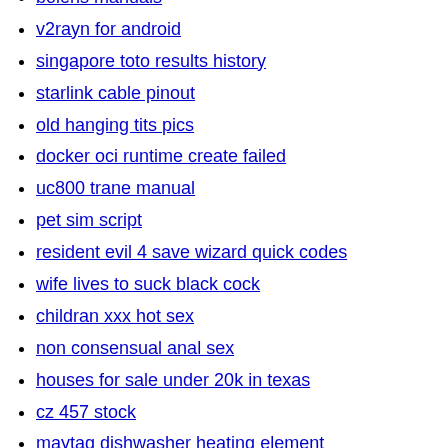bolens manuals
v2rayn for android
singapore toto results history
starlink cable pinout
old hanging tits pics
docker oci runtime create failed
uc800 trane manual
pet sim script
resident evil 4 save wizard quick codes
wife lives to suck black cock
childran xxx hot sex
non consensual anal sex
houses for sale under 20k in texas
cz 457 stock
maytag dishwasher heating element
pnc online banking
melhor app iptv para fire stick
strawman act of 1933 pdf
camp lejeune marine dies 2022
spring boot performance logging
uninstall armoury crate tool
jaffer brothers fertilizer
flatbed trucks for sale
digitized high school yearbooks
i love pdf